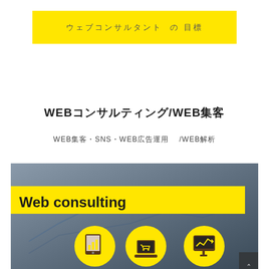ウェブコンサルタント
WEBコンサルティング/WEB集客
WEB集客・SNS・WEB広告運用　/WEB解析
[Figure (illustration): Web consulting promotional image with yellow banner reading 'Web consulting' and three yellow circular icons showing tablet analytics, shopping cart on laptop, and desktop analytics chart, overlaid on a blurred office/chart background]